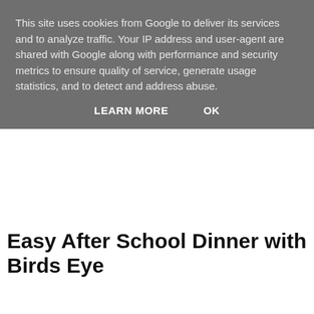This site uses cookies from Google to deliver its services and to analyze traffic. Your IP address and user-agent are shared with Google along with performance and security metrics to ensure quality of service, generate usage statistics, and to detect and address abuse.
LEARN MORE    OK
Easy After School Dinner with Birds Eye
[Figure (logo): Birds Eye logo — red leaf/teardrop shape with white 'Birds Eye' text in bold italic font, white oval outline inside the leaf shape]
I don't know about you but trying to fit in healthy meals for the kids when you're working, or generally busy with after school clubs etc, can be exhausting. I like to cook the kids something healthy-ish but something that is quick and won't